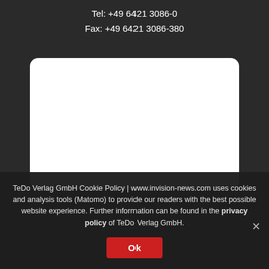Tel: +49 6421 3086-0
Fax: +49 6421 3086-380
[Figure (other): White rounded rectangle box on dark background]
TeDo Verlag GmbH Cookie Policy | www.invision-news.com uses cookies and analysis tools (Matomo) to provide our readers with the best possible website experience. Further information can be found in the privacy policy of TeDo Verlag GmbH.
Ok